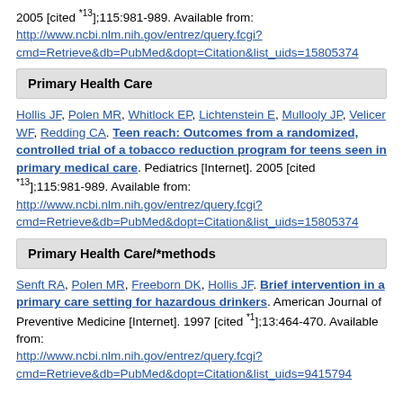2005 [cited *13];115:981-989. Available from: http://www.ncbi.nlm.nih.gov/entrez/query.fcgi?cmd=Retrieve&db=PubMed&dopt=Citation&list_uids=15805374
Primary Health Care
Hollis JF, Polen MR, Whitlock EP, Lichtenstein E, Mullooly JP, Velicer WF, Redding CA. Teen reach: Outcomes from a randomized, controlled trial of a tobacco reduction program for teens seen in primary medical care. Pediatrics [Internet]. 2005 [cited *13];115:981-989. Available from: http://www.ncbi.nlm.nih.gov/entrez/query.fcgi?cmd=Retrieve&db=PubMed&dopt=Citation&list_uids=15805374
Primary Health Care/*methods
Senft RA, Polen MR, Freeborn DK, Hollis JF. Brief intervention in a primary care setting for hazardous drinkers. American Journal of Preventive Medicine [Internet]. 1997 [cited *1];13:464-470. Available from: http://www.ncbi.nlm.nih.gov/entrez/query.fcgi?cmd=Retrieve&db=PubMed&dopt=Citation&list_uids=9415794